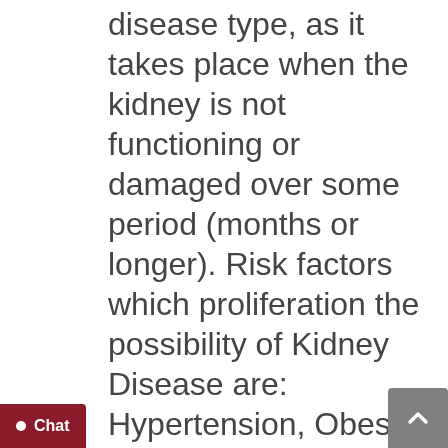disease type, as it takes place when the kidney is not functioning or damaged over some period (months or longer). Risk factors which proliferation the possibility of Kidney Disease are: Hypertension, Obesity, Heart Disease, Age, Diabetes, Drug Abuse, Family History of Kidney Disease, Race/Ethnicity. Indications of kidney diseases are: Difficulty or pain during voiding, swelling & pain in the back or side, changes in your urinary function, Blood in the